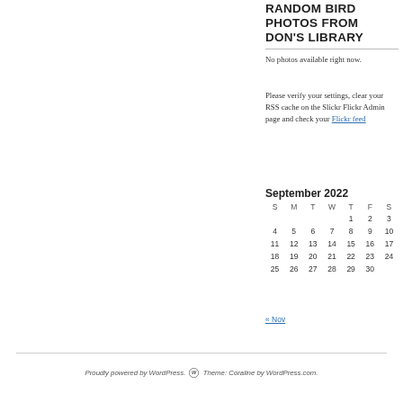RANDOM BIRD PHOTOS FROM DON'S LIBRARY
No photos available right now.
Please verify your settings, clear your RSS cache on the Slickr Flickr Admin page and check your Flickr feed
September 2022
| S | M | T | W | T | F | S |
| --- | --- | --- | --- | --- | --- | --- |
|  |  |  |  | 1 | 2 | 3 |
| 4 | 5 | 6 | 7 | 8 | 9 | 10 |
| 11 | 12 | 13 | 14 | 15 | 16 | 17 |
| 18 | 19 | 20 | 21 | 22 | 23 | 24 |
| 25 | 26 | 27 | 28 | 29 | 30 |  |
« Nov
Proudly powered by WordPress. Theme: Coraline by WordPress.com.